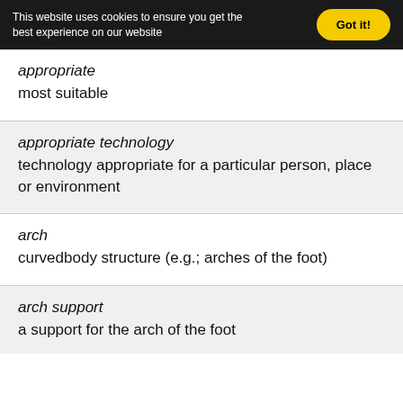This website uses cookies to ensure you get the best experience on our website  Got it!
appropriate
most suitable
appropriate technology
technology appropriate for a particular person, place or environment
arch
curvedbody structure (e.g.; arches of the foot)
arch support
a support for the arch of the foot